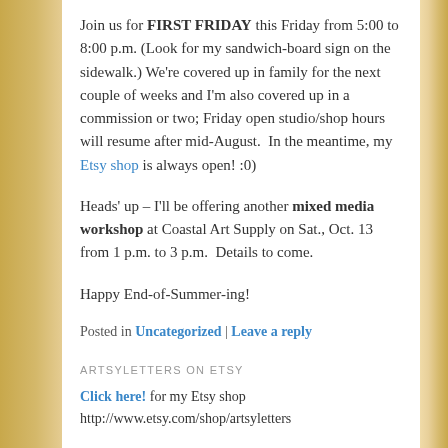Join us for FIRST FRIDAY this Friday from 5:00 to 8:00 p.m. (Look for my sandwich-board sign on the sidewalk.) We're covered up in family for the next couple of weeks and I'm also covered up in a commission or two; Friday open studio/shop hours will resume after mid-August.  In the meantime, my Etsy shop is always open! :0)
Heads' up – I'll be offering another mixed media workshop at Coastal Art Supply on Sat., Oct. 13 from 1 p.m. to 3 p.m.  Details to come.
Happy End-of-Summer-ing!
Posted in Uncategorized | Leave a reply
ARTSYLETTERS ON ETSY
Click here! for my Etsy shop
http://www.etsy.com/shop/artsyletters
ROBYN HOOD BLACK – CHILDREN'S AUTHOR/POET